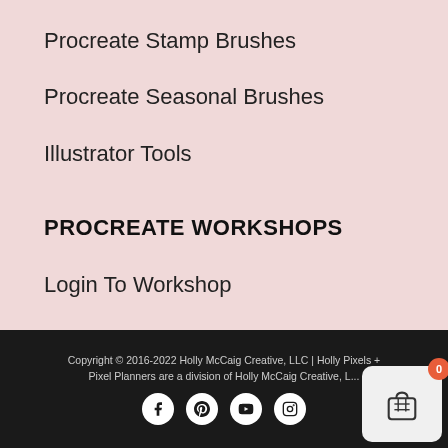Procreate Stamp Brushes
Procreate Seasonal Brushes
Illustrator Tools
PROCREATE WORKSHOPS
Login To Workshop
Take a Procreate Class
Copyright © 2016-2022 Holly McCaig Creative, LLC | Holly Pixels + Pixel Planners are a division of Holly McCaig Creative, L...